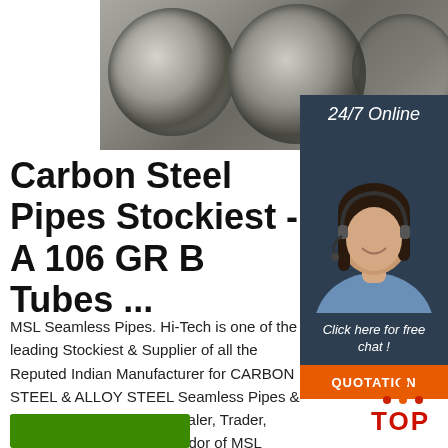[Figure (photo): Steel coil rolls stacked, viewed from the ends showing circular cross-sections in gray tones]
[Figure (photo): 24/7 Online banner with dark navy background and white italic text, overlaid on customer service representative woman wearing headset and smiling, with blue shirt, dark background panel, and orange QUOTATION button]
Carbon Steel Pipes Stockiest - A 106 GR B Tubes ...
MSL Seamless Pipes. Hi-Tech is one of the leading Stockiest & Supplier of all the Reputed Indian Manufacturer for CARBON STEEL & ALLOY STEEL Seamless Pipes & Tubes.We are Stockist, Dealer, Trader, Supplier, Exporter and Vendor of MSL Maharashtra Seamless Ltd Pipes in Bombay Mumbai. ASTM A 106 GRADE GB.
[Figure (logo): TOP logo with orange dots arranged in triangle above red letters TOP]